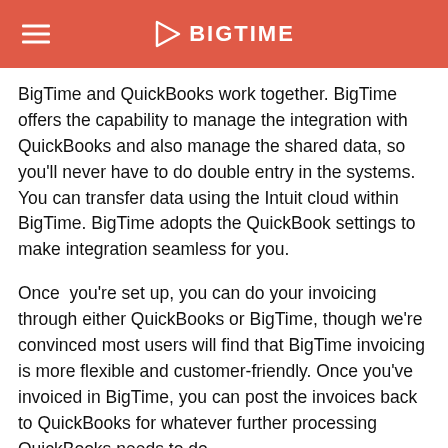BIGTIME
BigTime and QuickBooks work together. BigTime offers the capability to manage the integration with QuickBooks and also manage the shared data, so you'll never have to do double entry in the systems. You can transfer data using the Intuit cloud within BigTime. BigTime adopts the QuickBook settings to make integration seamless for you.
Once  you're set up, you can do your invoicing through either QuickBooks or BigTime, though we're convinced most users will find that BigTime invoicing is more flexible and customer-friendly. Once you've invoiced in BigTime, you can post the invoices back to QuickBooks for whatever further processing QuickBooks needs to do.
During your initial BigTime setup, you can import